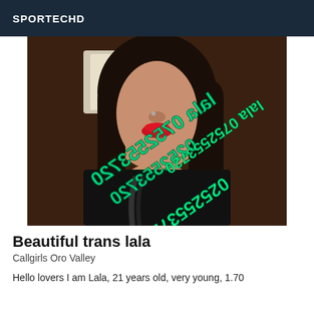SPORTECHD
[Figure (photo): Close-up selfie photo of a person with long dark hair, red lips, wearing a black top. Green mirrored text overlay reads 'lala 0752553720'.]
Beautiful trans lala
Callgirls Oro Valley
Hello lovers I am Lala, 21 years old, very young, 1.70